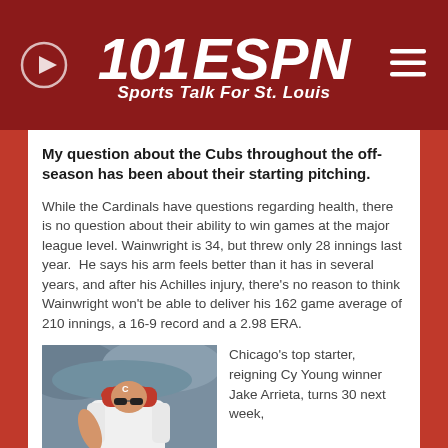101ESPN Sports Talk For St. Louis
My question about the Cubs throughout the off-season has been about their starting pitching.
While the Cardinals have questions regarding health, there is no question about their ability to win games at the major league level. Wainwright is 34, but threw only 28 innings last year.  He says his arm feels better than it has in several years, and after his Achilles injury, there's no reason to think Wainwright won't be able to deliver his 162 game average of 210 innings, a 16-9 record and a 2.98 ERA.
[Figure (photo): Baseball pitcher in white Cardinals uniform and red cap]
Chicago's top starter, reigning Cy Young winner Jake Arrieta, turns 30 next week,